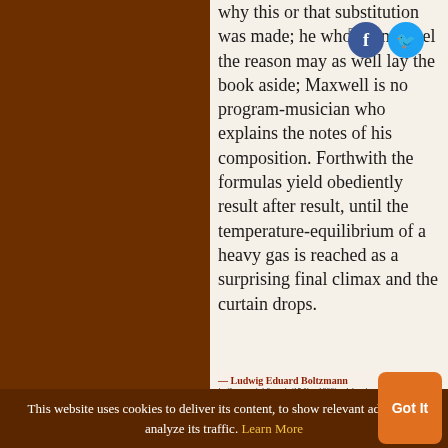why this or that substitution was made; he who cannot feel the reason may as well lay the book aside; Maxwell is no program-musician who explains the notes of his composition. Forthwith the formulas yield obediently result after result, until the temperature-equilibrium of a heavy gas is reached as a surprising final climax and the curtain drops.
— Ludwig Eduard Boltzmann in Ceremonial Speech (15 Nov 1899) celebrating the 301st anniversary of the Karl-Franzens-University Graz. Published as Gustav Robert ...
This website uses cookies to deliver its content, to show relevant ads and to analyze its traffic. Learn More